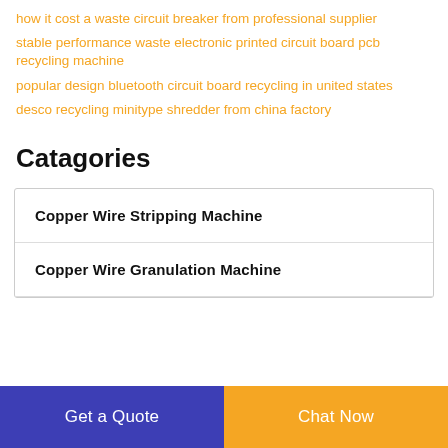how it cost a waste circuit breaker from professional supplier
stable performance waste electronic printed circuit board pcb recycling machine
popular design bluetooth circuit board recycling in united states
desco recycling minitype shredder from china factory
Catagories
| Copper Wire Stripping Machine |
| Copper Wire Granulation Machine |